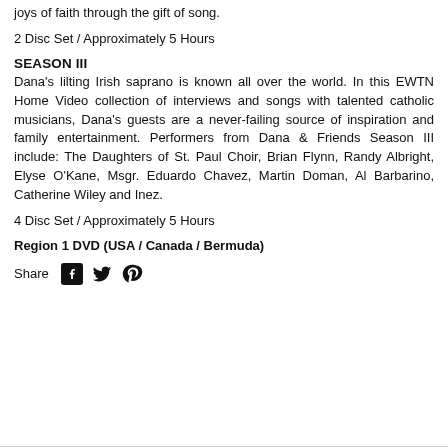joys of faith through the gift of song.
2 Disc Set / Approximately 5 Hours
SEASON III
Dana's lilting Irish saprano is known all over the world. In this EWTN Home Video collection of interviews and songs with talented catholic musicians, Dana's guests are a never-failing source of inspiration and family entertainment. Performers from Dana & Friends Season III include: The Daughters of St. Paul Choir, Brian Flynn, Randy Albright, Elyse O'Kane, Msgr. Eduardo Chavez, Martin Doman, Al Barbarino, Catherine Wiley and Inez.
4 Disc Set / Approximately 5 Hours
Region 1 DVD (USA / Canada / Bermuda)
Share